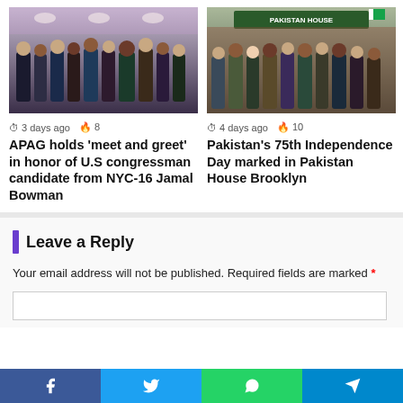[Figure (photo): Group photo of people standing together indoors, likely at an event]
3 days ago  🔥 8
APAG holds 'meet and greet' in honor of U.S congressman candidate from NYC-16 Jamal Bowman
[Figure (photo): Group of people standing in front of Pakistan House sign in Brooklyn]
4 days ago  🔥 10
Pakistan's 75th Independence Day marked in Pakistan House Brooklyn
Leave a Reply
Your email address will not be published. Required fields are marked *